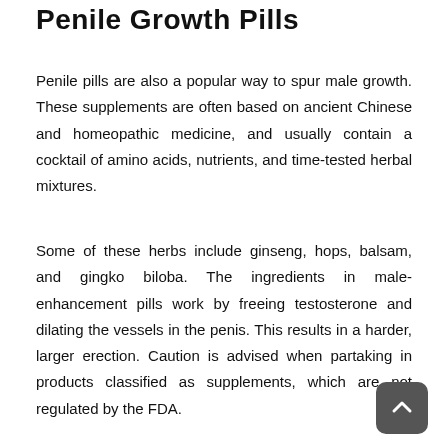Penile Growth Pills
Penile pills are also a popular way to spur male growth. These supplements are often based on ancient Chinese and homeopathic medicine, and usually contain a cocktail of amino acids, nutrients, and time-tested herbal mixtures.
Some of these herbs include ginseng, hops, balsam, and gingko biloba. The ingredients in male-enhancement pills work by freeing testosterone and dilating the vessels in the penis. This results in a harder, larger erection. Caution is advised when partaking in products classified as supplements, which are not regulated by the FDA.